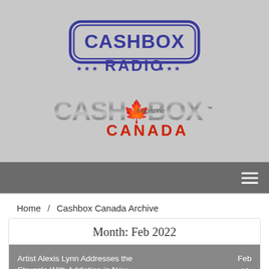[Figure (logo): Cashbox Radio logo with blue text on grey background, stars on either side]
[Figure (logo): Cashbox Magazine Canada logo with red maple leaf and red CANADA text, grey metallic CASHBOX text]
≡
Home / Cashbox Canada Archive
Month: Feb 2022
Artist Alexis Lynn Addresses the Struggle With Addiction in New Single "House On Fire...  Feb 10, 2022
Feb